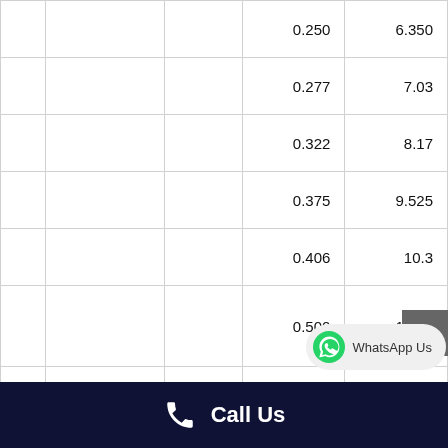| Size | OD (in) | OD (mm) | Wall (in) | Wall (mm) |
| --- | --- | --- | --- | --- |
|  |  |  | 0.250 | 6.350 |
|  |  |  | 0.277 | 7.03 |
|  |  |  | 0.322 | 8.17 |
|  |  |  | 0.375 | 9.525 |
|  |  |  | 0.406 | 10.3 |
|  |  |  | 0.500 | 12.70 |
| 10" | 10.750 | 273 | 0.188 | 4.77 |
|  |  |  | 0.219 | 5.563 |
|  |  |  | 0.250 | 6.350 |
|  |  |  |  |  |
WhatsApp Us
Call Us